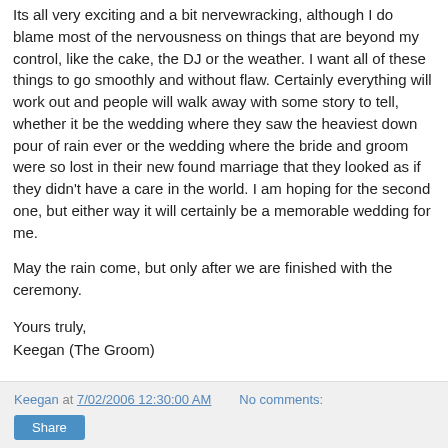Its all very exciting and a bit nervewracking, although I do blame most of the nervousness on things that are beyond my control, like the cake, the DJ or the weather. I want all of these things to go smoothly and without flaw. Certainly everything will work out and people will walk away with some story to tell, whether it be the wedding where they saw the heaviest down pour of rain ever or the wedding where the bride and groom were so lost in their new found marriage that they looked as if they didn't have a care in the world. I am hoping for the second one, but either way it will certainly be a memorable wedding for me.
May the rain come, but only after we are finished with the ceremony.
Yours truly,
Keegan (The Groom)
Keegan at 7/02/2006 12:30:00 AM   No comments:   Share